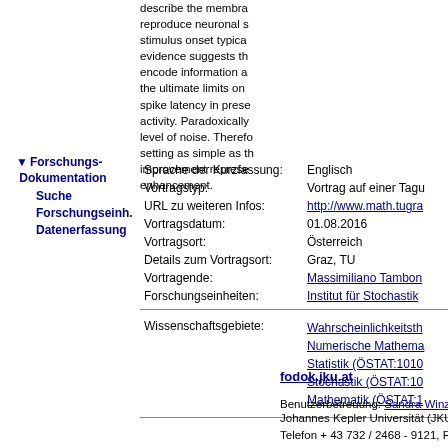describe the membra reproduce neuronal s stimulus onset typica evidence suggests th encode information a the ultimate limits on spike latency in prese activity. Paradoxicall level of noise. Therefo setting as simple as t improvement represe enhancement.
▼ Forschungs-Dokumentation
Suche
Forschungseinh.
Datenerfassung
| Field | Value |
| --- | --- |
| Sprache der Kurzfassung: | Englisch |
| Vortragstyp: | Vortrag auf einer Tagu |
| URL zu weiteren Infos: | http://www.math.tugra |
| Vortragsdatum: | 01.08.2016 |
| Vortragsort: | Österreich |
| Details zum Vortragsort: | Graz, TU |
| Vortragende: | Massimiliano Tambon |
| Forschungseinheiten: | Institut für Stochastik |
| Field | Value |
| --- | --- |
| Wissenschaftsgebiete: | Wahrscheinlichkeitsth
Numerische Mathema
Statistik (ÖSTAT:1010
Stochastik (ÖSTAT:10
Mathematik (ÖSTAT:1 |
fodok.jku.at
Benutzerbetreuung: Sandra Winzer, letzte Änderung: 20.8.
Johannes Kepler Universität (JKU) Linz, Altenbergstr. 69, Telefon + 43 732 / 2468 - 9121, Fax + 43 732 / 2468 - 2912